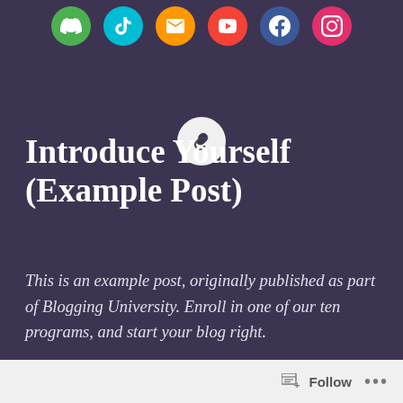[Figure (illustration): Row of six social media icon circles (green, teal, orange, red, blue/Facebook, pink/Instagram) at the top of the page]
[Figure (logo): A circular light grey icon with a chain/link symbol inside, centered below the social icons]
Introduce Yourself (Example Post)
This is an example post, originally published as part of Blogging University. Enroll in one of our ten programs, and start your blog right.
You’re going to publish a post today. Don’t worry about how your blog looks. Don’t worry
Follow ...